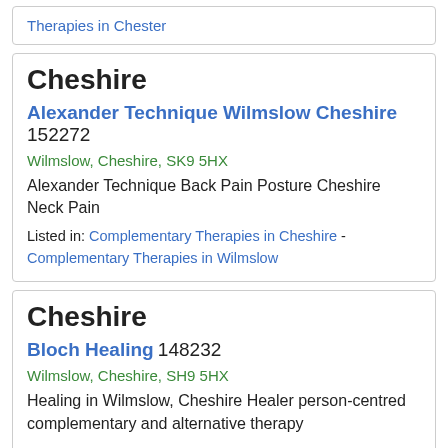Therapies in Chester
Cheshire
Alexander Technique Wilmslow Cheshire 152272
Wilmslow, Cheshire, SK9 5HX
Alexander Technique Back Pain Posture Cheshire Neck Pain
Listed in: Complementary Therapies in Cheshire - Complementary Therapies in Wilmslow
Cheshire
Bloch Healing 148232
Wilmslow, Cheshire, SH9 5HX
Healing in Wilmslow, Cheshire Healer person-centred complementary and alternative therapy